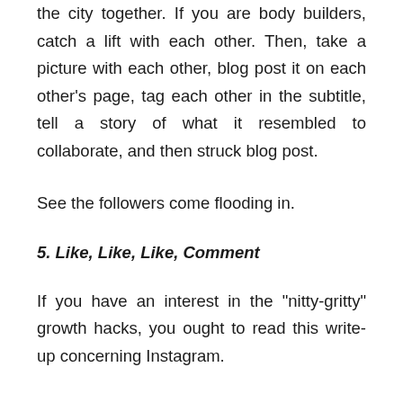the city together. If you are body builders, catch a lift with each other. Then, take a picture with each other, blog post it on each other's page, tag each other in the subtitle, tell a story of what it resembled to collaborate, and then struck blog post.
See the followers come flooding in.
5. Like, Like, Like, Comment
If you have an interest in the "nitty-gritty" growth hacks, you ought to read this write-up concerning Instagram.